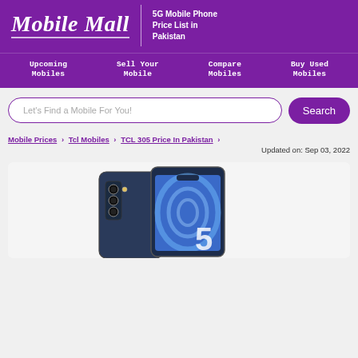Mobile Mall — 5G Mobile Phone Price List in Pakistan
Upcoming Mobiles
Sell Your Mobile
Compare Mobiles
Buy Used Mobiles
Let's Find a Mobile For You! Search
Mobile Prices > Tcl Mobiles > TCL 305 Price In Pakistan > Updated on: Sep 03, 2022
[Figure (photo): TCL 305 smartphone shown from front and back angles, dark blue color with a blue swirl wallpaper on screen and triple camera setup on back. The number 5 is partially visible on the screen.]